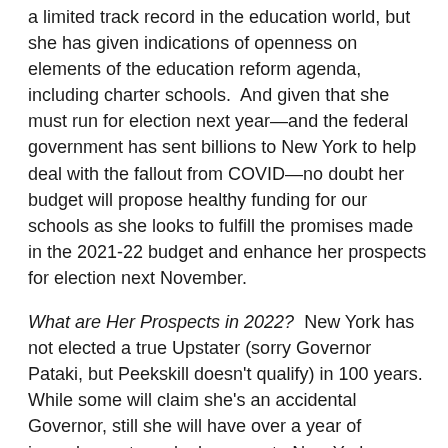a limited track record in the education world, but she has given indications of openness on elements of the education reform agenda, including charter schools.  And given that she must run for election next year—and the federal government has sent billions to New York to help deal with the fallout from COVID—no doubt her budget will propose healthy funding for our schools as she looks to fulfill the promises made in the 2021-22 budget and enhance her prospects for election next November.
What are Her Prospects in 2022?  New York has not elected a true Upstater (sorry Governor Pataki, but Peekskill doesn't qualify) in 100 years.  While some will claim she's an accidental Governor, still she will have over a year of incumbency to make her case to New York Democrats.  It's too early to tell who will run against her, but no doubt someone will, including, perhaps, Attorney General Tish James.  Regardless of her opponents, it will be a challenge for an Upstater, no matter how popular they are, to win a statewide Democratic primary.  However, Kathy Hochul has a history of winning elections that pundits thought she couldn't, so we should all be interested to watch how...